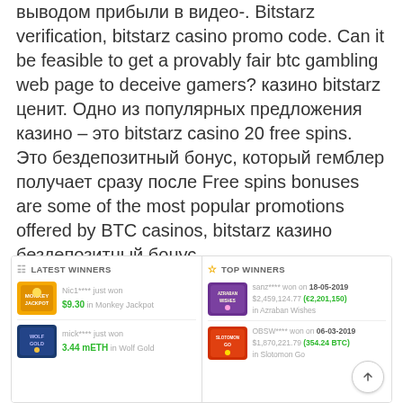выводом прибыли в видео-. Bitstarz verification, bitstarz casino promo code. Can it be feasible to get a provably fair btc gambling web page to deceive gamers? казино bitstarz ценит. Одно из популярных предложения казино – это bitstarz casino 20 free spins. Это бездепозитный бонус, который гемблер получает сразу после Free spins bonuses are some of the most popular promotions offered by BTC casinos, bitstarz казино бездепозитный бонус.
[Figure (screenshot): Latest Winners panel showing Nic1**** won $9.30 in Monkey Jackpot and mick**** won 3.44 mETH in Wolf Gold]
[Figure (screenshot): Top Winners panel showing sanz**** won on 18-05-2019 $2,459,124.77 (€2,201,150) in Azraban Wishes, and OBSW**** won on 06-03-2019 $1,870,221.79 (354.24 BTC) in Slotomon Go]